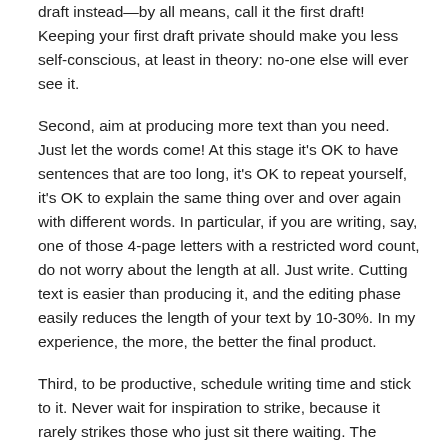draft instead—by all means, call it the first draft! Keeping your first draft private should make you less self-conscious, at least in theory: no-one else will ever see it.
Second, aim at producing more text than you need. Just let the words come! At this stage it's OK to have sentences that are too long, it's OK to repeat yourself, it's OK to explain the same thing over and over again with different words. In particular, if you are writing, say, one of those 4-page letters with a restricted word count, do not worry about the length at all. Just write. Cutting text is easier than producing it, and the editing phase easily reduces the length of your text by 10-30%. In my experience, the more, the better the final product.
Third, to be productive, schedule writing time and stick to it. Never wait for inspiration to strike, because it rarely strikes those who just sit there waiting. The Muses dislike idleness; they tend to show up when you are already engaged in work. Just sit down, put your phone on silent, remove all clutter from your screen, shut down